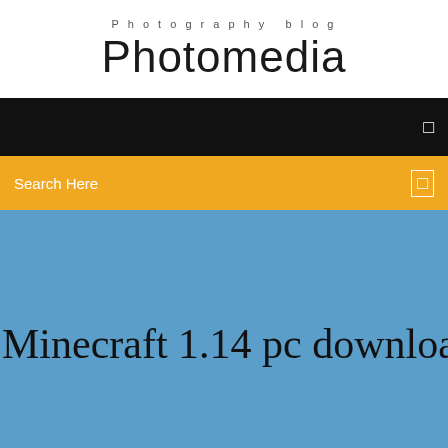Photography blog
Photomedia
[Figure (screenshot): Black navigation bar with a small white icon on the right]
Search Here
Minecraft 1.14 pc download free